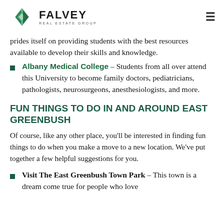FALVEY REAL ESTATE GROUP
prides itself on providing students with the best resources available to develop their skills and knowledge.
Albany Medical College – Students from all over attend this University to become family doctors, pediatricians, pathologists, neurosurgeons, anesthesiologists, and more.
FUN THINGS TO DO IN AND AROUND EAST GREENBUSH
Of course, like any other place, you'll be interested in finding fun things to do when you make a move to a new location. We've put together a few helpful suggestions for you.
Visit The East Greenbush Town Park – This town is a dream come true for people who love